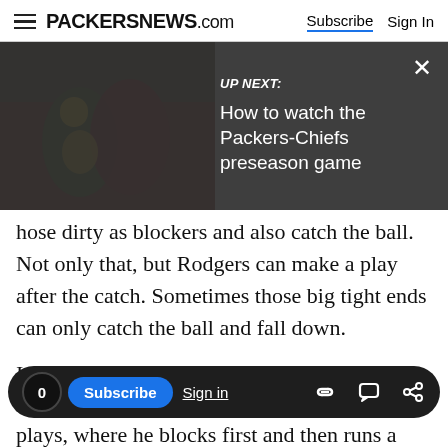PACKERSNEWS.com  Subscribe  Sign In
[Figure (screenshot): UP NEXT overlay with football action photo. Text reads: UP NEXT: How to watch the Packers-Chiefs preseason game. Dark overlay with close X button.]
hose dirty as blockers and also catch the ball. Not only that, but Rodgers can make a play after the catch. Sometimes those big tight ends can only catch the ball and fall down.
I doubt the Packers will split Rodgers outside much — Andrew Quarless and Brandon Bostick will fill that role. They'll keep Rodgers in the backfield and on the line of scrimmage. Linebackers and safeties won't know if he's going
0  Subscribe  Sign in  [link icon] [chat icon] [share icon]
plays, where he blocks first and then runs a pass